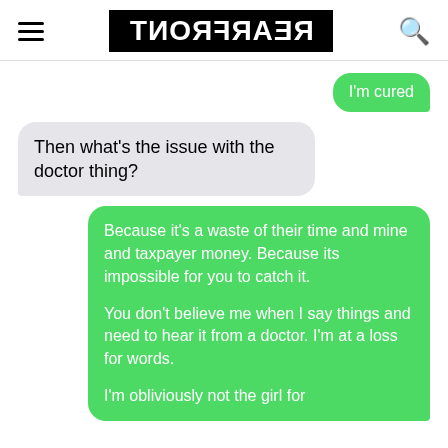REARFRONT (logo, mirrored)
I'm cured
Then what's the issue with the doctor thing?
Because it's a waste of their time and mine and taxpayer money. Because its impossible for you to catch it.

You don't believe me when I say things and need to hear it from a doctor. I'm at a loss for words.

I'm obliviously not the girl for